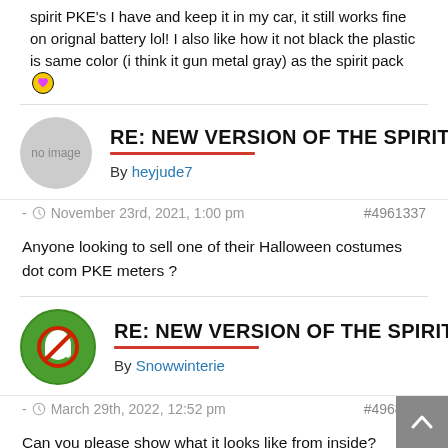spirit PKE's I have and keep it in my car, it still works fine on orignal battery lol! I also like how it not black the plastic is same color (i think it gun metal gray) as the spirit pack 💛
RE: NEW VERSION OF THE SPIRIT P — By heyjude7
- November 23rd, 2021, 1:00 pm  #4961337
Anyone looking to sell one of their Halloween costumes dot com PKE meters ?
RE: NEW VERSION OF THE SPIRIT P — By Snowwinterie
- March 29th, 2022, 12:52 pm  #4968392
Can you please show what it looks like from inside?